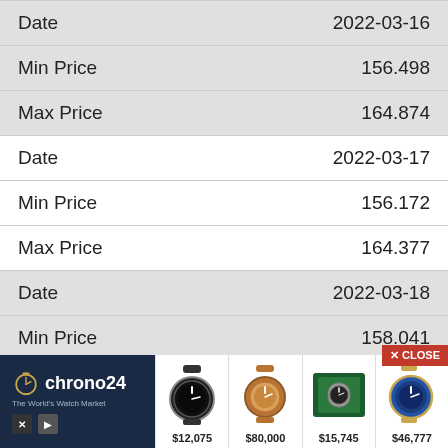| Field | Value |
| --- | --- |
| Date | 2022-03-16 |
| Min Price | 156.498 |
| Max Price | 164.874 |
| Date | 2022-03-17 |
| Min Price | 156.172 |
| Max Price | 164.377 |
| Date | 2022-03-18 |
| Min Price | 158.041 |
| Max Price | 166.379 |
[Figure (other): Chrono24 The World's Watch Market advertisement banner showing four luxury watches with prices: $12,075, $80,000, $15,745, $46,777]